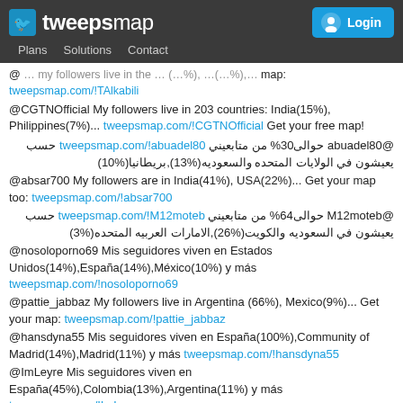tweepsmap | Plans | Solutions | Contact | Login
@... map: tweepsmap.com/!TAlkabili
@CGTNOfficial My followers live in 203 countries: India(15%), Philippines(7%)... tweepsmap.com/!CGTNOfficial Get your free map!
@abuadel80 حوالى30% من متابعيني حسب tweepsmap.com/!abuadel80 يعيشون في الولايات المتحده والسعوديه(%13),بريطانيا(%10)
@absar700 My followers are in India(41%), USA(22%)... Get your map too: tweepsmap.com/!absar700
@M12moteb حوالى64% من متابعيني حسب tweepsmap.com/!M12moteb يعيشون في السعوديه والكويت(%26),الامارات العربيه المتحده(%3)
@nosoloporno69 Mis seguidores viven en Estados Unidos(14%),España(14%),México(10%) y más tweepsmap.com/!nosoloporno69
@pattie_jabbaz My followers live in Argentina (66%), Mexico(9%)... Get your map: tweepsmap.com/!pattie_jabbaz
@hansdyna55 Mis seguidores viven en España(100%),Community of Madrid(14%),Madrid(11%) y más tweepsmap.com/!hansdyna55
@ImLeyre Mis seguidores viven en España(45%),Colombia(13%),Argentina(11%) y más tweepsmap.com/!ImLeyre
@Fabian0206v Mis seguidores viven en Argentina(17%),España(16%),Perú(14%) y más tweepsmap.com/!Fabian0206v